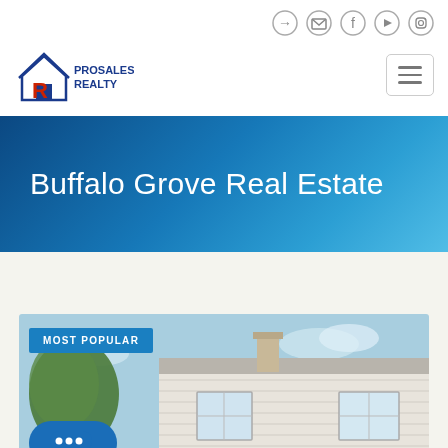[Figure (logo): ProSales Realty logo with red and blue house/R icon]
Buffalo Grove Real Estate
MOST POPULAR
[Figure (photo): Exterior photo of a residential home with white siding, two windows, chimney, and trees in background under blue sky]